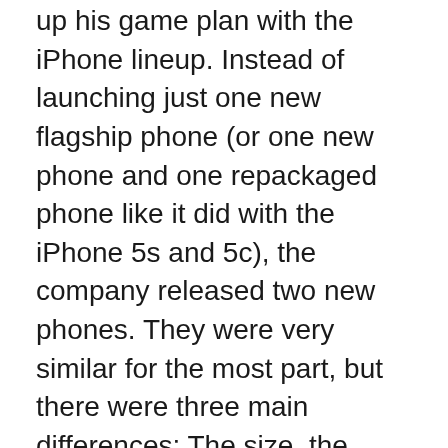up his game plan with the iPhone lineup. Instead of launching just one new flagship phone (or one new phone and one repackaged phone like it did with the iPhone 5s and 5c), the company released two new phones. They were very similar for the most part, but there were three main differences: The size, the screen resolution, and optical image stabilization on the Plus model's camera.
Apple stuck to the same script in 2015, but it looks like things will play out a bit differently this year. While the differences between the 6 and 6 Plus were subtle, as are the differences between the 6s and 6s Plus, the iPhone 7 and